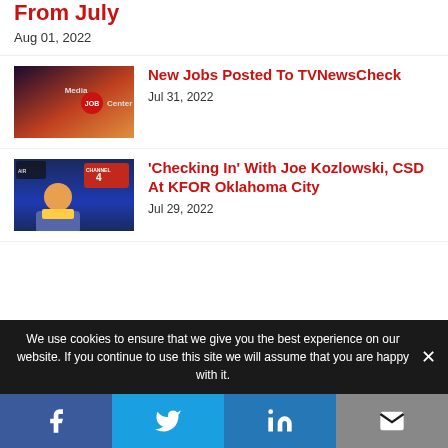From July
Aug 01, 2022
[Figure (logo): Media Job Center logo with red circular badge on dark blurred city background]
New Jobs Posted To TVNewsCheck
Jul 31, 2022
[Figure (photo): Man in yellow shirt and blazer on a TV news studio set with blue background and Channel 4 logo]
'Checking In' With Joe Kozlowski, CSD At KFOR Oklahoma City
Jul 29, 2022
We use cookies to ensure that we give you the best experience on our website. If you continue to use this site we will assume that you are happy with it.
Facebook | Twitter | LinkedIn | Email